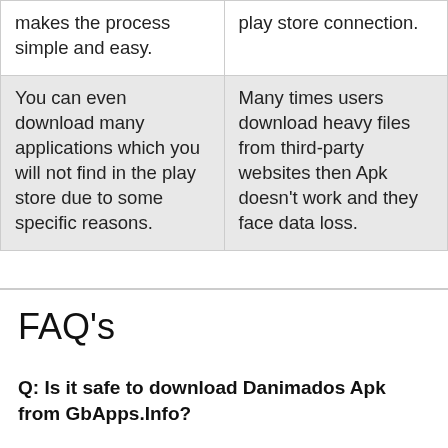| makes the process simple and easy. | play store connection. |
| You can even download many applications which you will not find in the play store due to some specific reasons. | Many times users download heavy files from third-party websites then Apk doesn't work and they face data loss. |
FAQ's
Q: Is it safe to download Danimados Apk from GbApps.Info?